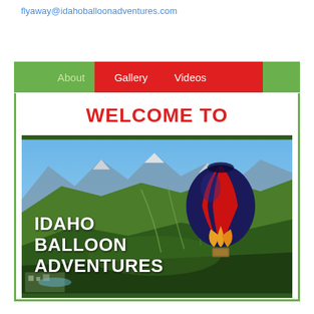flyaway@idahoballoonadventures.com
WELCOME TO
[Figure (photo): Hot air balloon (dark blue, red, yellow/orange panels) floating over a green mountain valley with peaks in the background. Text overlay reads IDAHO BALLOON ADVENTURES.]